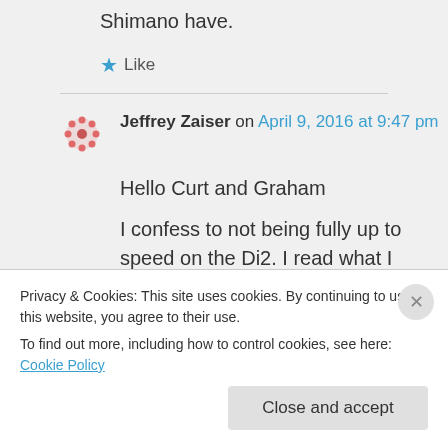Shimano have.
★ Like
Jeffrey Zaiser on April 9, 2016 at 9:47 pm
Hello Curt and Graham
I confess to not being fully up to speed on the Di2. I read what I
Privacy & Cookies: This site uses cookies. By continuing to use this website, you agree to their use.
To find out more, including how to control cookies, see here: Cookie Policy